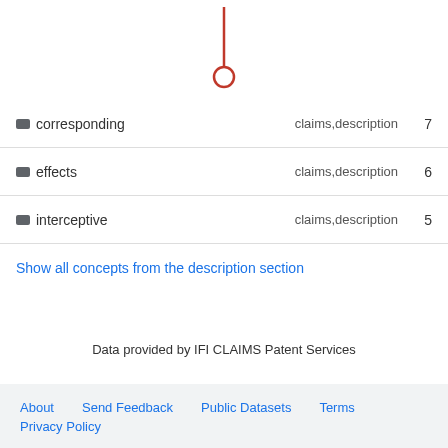[Figure (other): Chemical structure or diagram showing a vertical line with a circle at the bottom, rendered in red/dark red color]
| Concept | Source | Count |
| --- | --- | --- |
| corresponding | claims,description | 7 |
| effects | claims,description | 6 |
| interceptive | claims,description | 5 |
Show all concepts from the description section
Data provided by IFI CLAIMS Patent Services
About   Send Feedback   Public Datasets   Terms   Privacy Policy